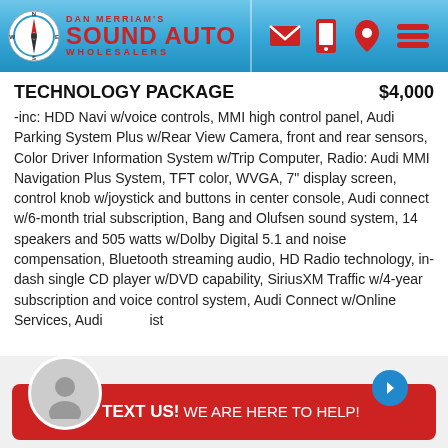Dan Merriam's Sound Auto Wholesalers
TECHNOLOGY PACKAGE   $4,000
-inc: HDD Navi w/voice controls, MMI high control panel, Audi Parking System Plus w/Rear View Camera, front and rear sensors, Color Driver Information System w/Trip Computer, Radio: Audi MMI Navigation Plus System, TFT color, WVGA, 7" display screen, control knob w/joystick and buttons in center console, Audi connect w/6-month trial subscription, Bang and Olufsen sound system, 14 speakers and 505 watts w/Dolby Digital 5.1 and noise compensation, Bluetooth streaming audio, HD Radio technology, in-dash single CD player w/DVD capability, SiriusXM Traffic w/4-year subscription and voice control system, Audi Connect w/Online Services, Audi...ist
TEXT US! WE ARE HERE TO HELP!